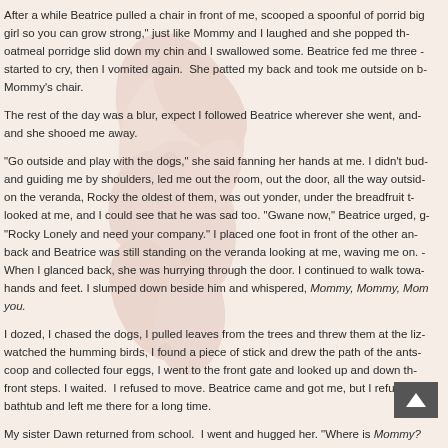After a while Beatrice pulled a chair in front of me, scooped a spoonful of porrid… big girl so you can grow strong,” just like Mommy and I laughed and she popped th… oatmeal porridge slid down my chin and I swallowed some. Beatrice fed me three … started to cry, then I vomited again.  She patted my back and took me outside on b… Mommy’s chair.
The rest of the day was a blur, expect I followed Beatrice wherever she went, and … and she shooed me away.
“Go outside and play with the dogs,” she said fanning her hands at me. I didn’t bud… and guiding me by shoulders, led me out the room, out the door, all the way outsid… on the veranda, Rocky the oldest of them, was out yonder, under the breadfruit t… looked at me, and I could see that he was sad too. “Gwane now,” Beatrice urged, g… “Rocky Lonely and need your company.” I placed one foot in front of the other an… back and Beatrice was still standing on the veranda looking at me, waving me on. … When I glanced back, she was hurrying through the door. I continued to walk towa… hands and feet. I slumped down beside him and whispered, Mommy, Mommy, Mom… you.
I dozed, I chased the dogs, I pulled leaves from the trees and threw them at the liz… watched the humming birds, I found a piece of stick and drew the path of the ants… coop and collected four eggs, I went to the front gate and looked up and down th… front steps. I waited.  I refused to move. Beatrice came and got me, but I refused … bathtub and left me there for a long time.
My sister Dawn returned from school.  I went and hugged her. “Where is Mommy?